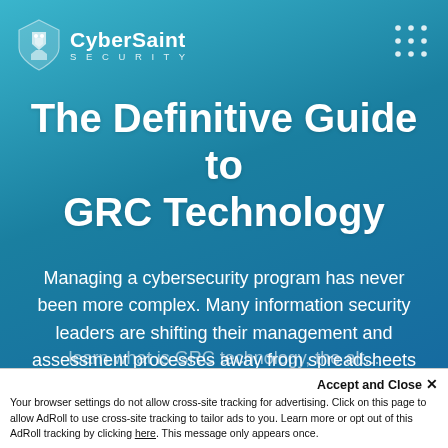[Figure (logo): CyberSaint Security logo: shield/knight icon in white on teal, with 'CyberSaint' in bold white and 'SECURITY' in spaced white below]
[Figure (other): 3x3 dot grid icon in white, top-right corner]
The Definitive Guide to GRC Technology
Managing a cybersecurity program has never been more complex. Many information security leaders are shifting their management and assessment processes away from spreadsheets and Word documents to purpose-built solutions to support their growing program. Start here to learn what is GRC technology, the alt...
Accept and Close ×
Your browser settings do not allow cross-site tracking for advertising. Click on this page to allow AdRoll to use cross-site tracking to tailor ads to you. Learn more or opt out of this AdRoll tracking by clicking here. This message only appears once.